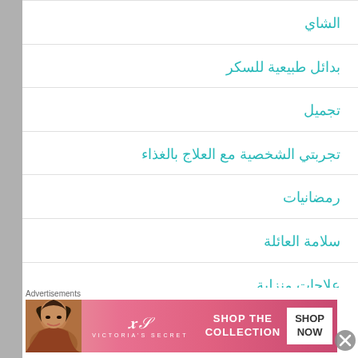الشاي
بدائل طبيعية للسكر
تجميل
تجربتي الشخصية مع العلاج بالغذاء
رمضانيات
سلامة العائلة
علاجات منزلية
[Figure (photo): Victoria's Secret advertisement banner with a woman and pink background, showing 'SHOP THE COLLECTION' and 'SHOP NOW' button]